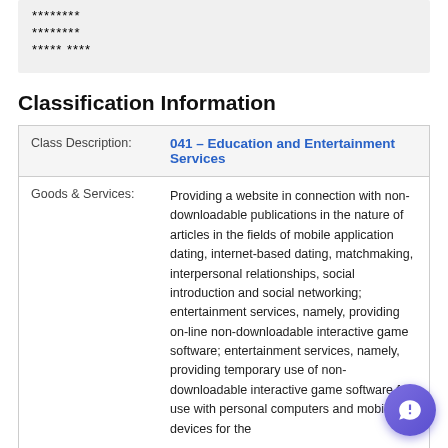******** ******** ***** ****
Classification Information
| Field | Value |
| --- | --- |
| Class Description: | 041 – Education and Entertainment Services |
| Goods & Services: | Providing a website in connection with non-downloadable publications in the nature of articles in the fields of mobile application dating, internet-based dating, matchmaking, interpersonal relationships, social introduction and social networking; entertainment services, namely, providing on-line non-downloadable interactive game software; entertainment services, namely, providing temporary use of non-downloadable interactive game software for use with personal computers and mobile devices for the |